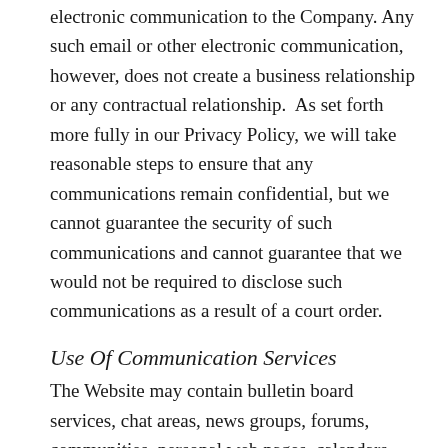electronic communication to the Company. Any such email or other electronic communication, however, does not create a business relationship or any contractual relationship.  As set forth more fully in our Privacy Policy, we will take reasonable steps to ensure that any communications remain confidential, but we cannot guarantee the security of such communications and cannot guarantee that we would not be required to disclose such communications as a result of a court order.
Use Of Communication Services
The Website may contain bulletin board services, chat areas, news groups, forums, communities, personal web pages, calendars, blog comment sections and/or other message or communication